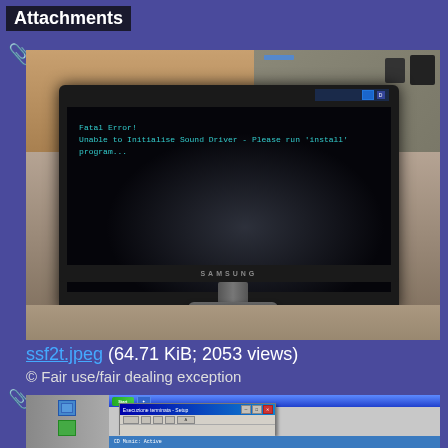Attachments
[Figure (photo): Samsung monitor displaying a black screen with white/cyan text reading 'Fatal Error! Unable to Initialise Sound Driver - Please run install program...' on a dark background, placed on a wooden desk in what appears to be an office or store environment.]
ssf2t.jpeg (64.71 KiB; 2053 views)
© Fair use/fair dealing exception
[Figure (screenshot): Partial view of a monitor showing a Windows XP-era desktop with a dialog box labeled 'Esecuzione terminata - Setup' and blue taskbar at the bottom with text 'CD Music: Active']